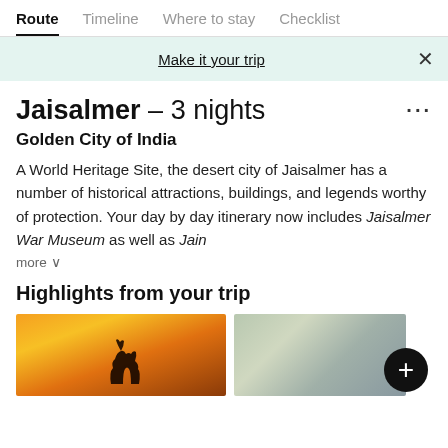Route | Timeline | Where to stay | Checklist
Make it your trip
Jaisalmer – 3 nights
Golden City of India
A World Heritage Site, the desert city of Jaisalmer has a number of historical attractions, buildings, and legends worthy of protection. Your day by day itinerary now includes Jaisalmer War Museum as well as Jain
more ˅
Highlights from your trip
[Figure (photo): Sunset with camel silhouette in the desert]
[Figure (photo): Aerial view of Jaisalmer city]